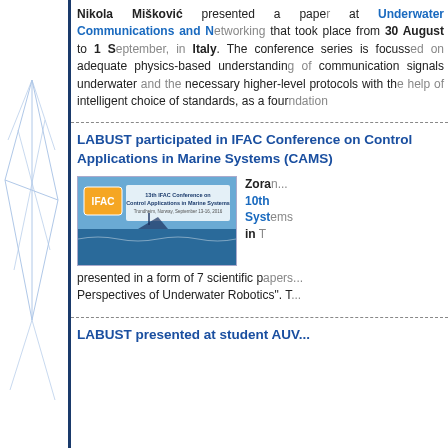Nikola Mišković presented a paper at Underwater Communications and Networking that took place from 30 August to 1 September, in Italy. The conference series is focussed on adequate physics-based understanding of communication signals underwater and the necessary higher-level protocols with the help of intelligent choice of standards, as a foundation...
LABUST participated in IFAC Conference on Control Applications in Marine Systems (CAMS)
[Figure (photo): IFAC 10th Conference on Control Applications in Marine Systems banner showing marine scene with IFAC logo]
Zoran... 10th IFAC Conference on Control Applications in Marine Systems presented in a form of 7 scientific papers... Perspectives of Underwater Robotics. T...
LABUST presented at student AUV...